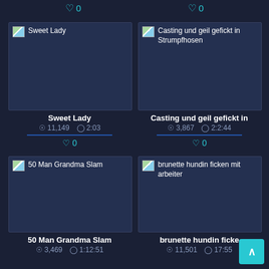[Figure (screenshot): Top row like buttons showing heart icons with count 0 each]
[Figure (screenshot): Video thumbnail card: Sweet Lady - views 11,149 duration 2:03 likes 0]
[Figure (screenshot): Video thumbnail card: Casting und geil gefickt in Strumpfhosen - views 3,867 duration 2:2:44 likes 0]
[Figure (screenshot): Video thumbnail card: 50 Man Grandma Slam - views 3,469 duration 1:12:51]
[Figure (screenshot): Video thumbnail card: brunette hundin ficken mit arbeiter - views 11,501 duration 17:55]